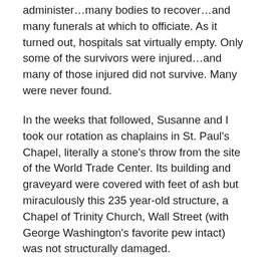administer…many bodies to recover…and many funerals at which to officiate. As it turned out, hospitals sat virtually empty. Only some of the survivors were injured…and many of those injured did not survive. Many were never found.
In the weeks that followed, Susanne and I took our rotation as chaplains in St. Paul's Chapel, literally a stone's throw from the site of the World Trade Center. Its building and graveyard were covered with feet of ash but miraculously this 235 year-old structure, a Chapel of Trinity Church, Wall Street (with George Washington's favorite pew intact) was not structurally damaged.
But it became the primary oasis for first responders, other police and firefighters, and construction workers. Food was served…naps were taken…massages were given